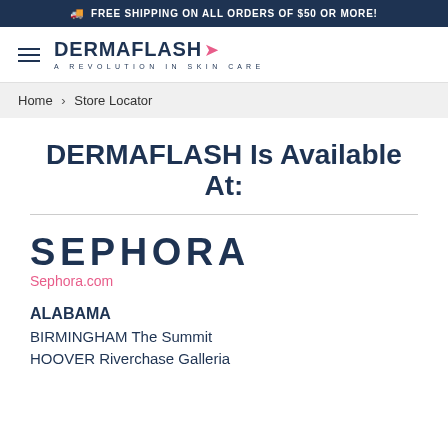🚚 FREE SHIPPING ON ALL ORDERS OF $50 OR MORE!
[Figure (logo): Dermaflash logo with hummingbird icon and tagline 'A Revolution in Skin Care']
Home > Store Locator
DERMAFLASH Is Available At:
[Figure (logo): SEPHORA logo in bold dark navy letters]
Sephora.com
ALABAMA
BIRMINGHAM The Summit
HOOVER Riverchase Galleria